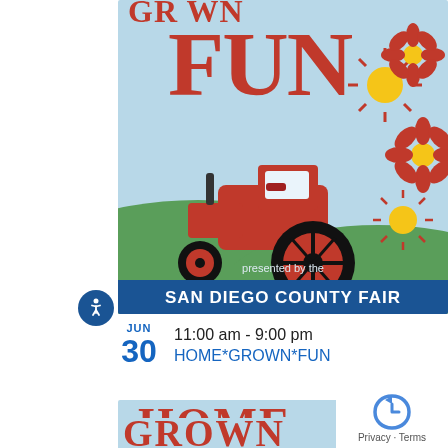[Figure (illustration): San Diego County Fair promotional banner showing large red distressed text 'FUN' at top, a red farm tractor in the center, decorative daisy flowers and suns on the right, a green hill landscape, and white text at the bottom reading 'presented by the SAN DIEGO COUNTY FAIR' on a light blue background.]
JUN 30   11:00 am - 9:00 pm
HOME*GROWN*FUN
[Figure (illustration): San Diego County Fair promotional banner showing large red distressed text 'HOME GROWN' on a light blue background with white cloud shapes.]